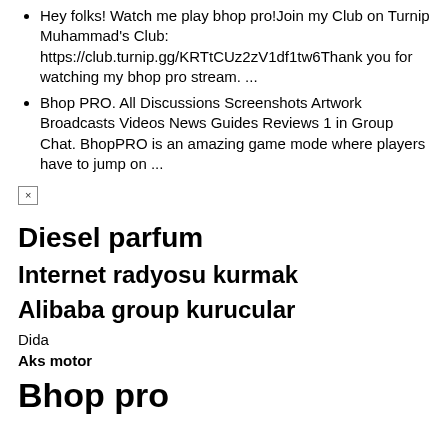Hey folks! Watch me play bhop pro!Join my Club on Turnip Muhammad's Club: https://club.turnip.gg/KRTtCUz2zV1df1tw6Thank you for watching my bhop pro stream. ...
Bhop PRO. All Discussions Screenshots Artwork Broadcasts Videos News Guides Reviews 1 in Group Chat. BhopPRO is an amazing game mode where players have to jump on ...
×
Diesel parfum
Internet radyosu kurmak
Alibaba group kurucular
Dida
Aks motor
Bhop pro